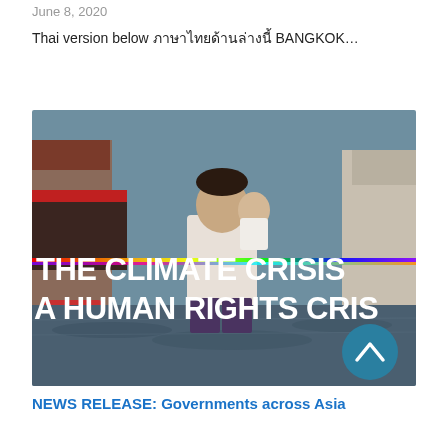June 8, 2020
Thai version below ภาษาไทยด้านล่างนี้ BANGKOK...
[Figure (photo): A man carrying a baby wading through flooded streets with text overlay reading 'THE CLIMATE CRISIS A HUMAN RIGHTS CRIS' (partially cut off), with a circular teal button with an up arrow in the bottom right.]
NEWS RELEASE: Governments across Asia